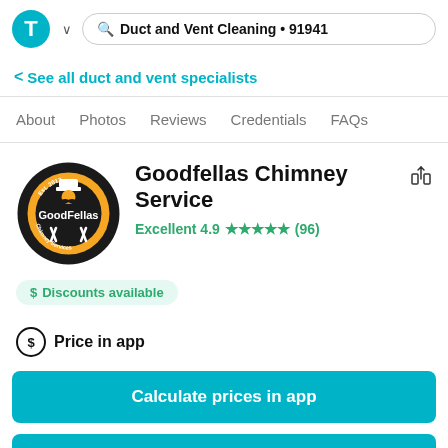Duct and Vent Cleaning • 91941
< See all duct and vent specialists
About  Photos  Reviews  Credentials  FAQs
[Figure (logo): Goodfellas Chimney Services circular logo with Est. 2017, man in hat with mustache, orange and black design]
Goodfellas Chimney Service
Excellent 4.9 ★★★★★ (96)
$ Discounts available
$ Price in app
Calculate prices in app